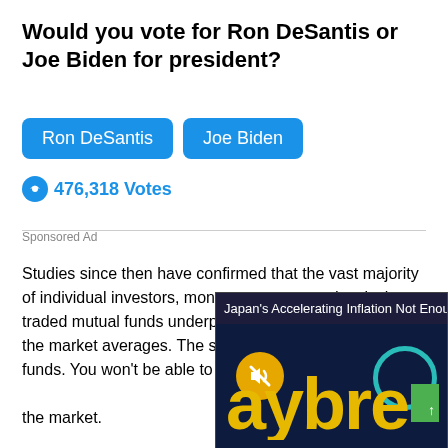Would you vote for Ron DeSantis or Joe Biden for president?
Ron DeSantis   Joe Biden
476,318 Votes
Sponsored Ad
Studies since then have confirmed that the vast majority of individual investors, money managers and actively traded mutual funds underperform when compared to the market averages. The solution? Buy stock index funds. You won't be able to beat the market but at least you'll match the market.
Two years later, in 1975 [Vanguard launched the] S&P 500 Index Fund, no[w one of the largest] funds in the business.
Warren Buffett has, from [early on, championed the] market theory that deve[loped...
[Figure (screenshot): Video overlay popup showing 'Japan's Accelerating Inflation Not Enou...' with a muted video thumbnail showing a dark financial screen with the text 'aybre' (Daybreak) in yellow and a teal circle logo element, with a close (x) button.]